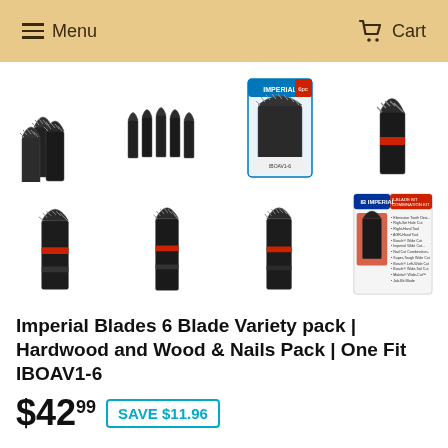Menu  Cart
[Figure (photo): Grid of 8 product thumbnail images showing Imperial Blades oscillating tool blade sets from various angles and packaging]
Imperial Blades 6 Blade Variety pack | Hardwood and Wood & Nails Pack | One Fit IBOAV1-6
$42.99  SAVE $11.96